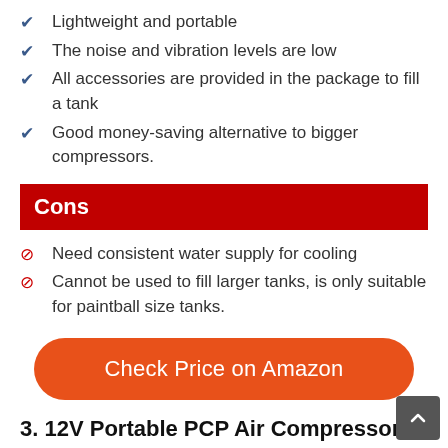Lightweight and portable
The noise and vibration levels are low
All accessories are provided in the package to fill a tank
Good money-saving alternative to bigger compressors.
Cons
Need consistent water supply for cooling
Cannot be used to fill larger tanks, is only suitable for paintball size tanks.
Check Price on Amazon
3. 12V Portable PCP Air Compressor